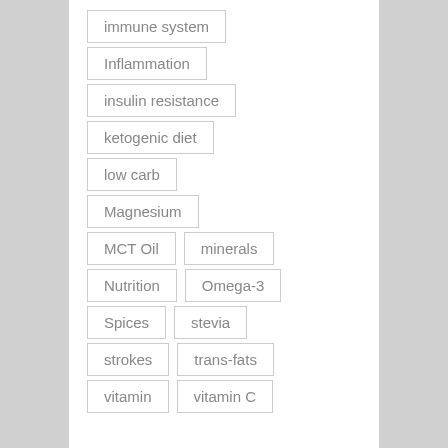immune system
Inflammation
insulin resistance
ketogenic diet
low carb
Magnesium
MCT Oil
minerals
Nutrition
Omega-3
Spices
stevia
strokes
trans-fats
vitamin
vitamin C